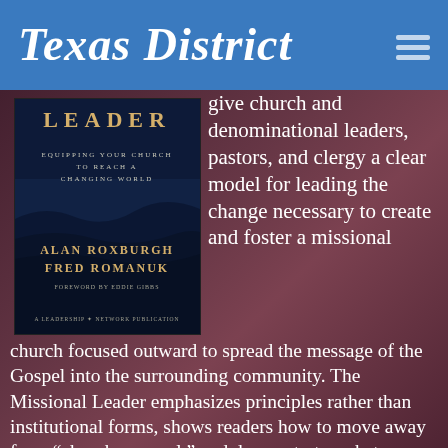Texas District
[Figure (illustration): Book cover: 'The Missional Leader - Equipping Your Church to Reach a Changing World' by Alan Roxburgh and Fred Romanuk, Foreword by Eddie Gibbs, a Leadership Network publication]
give church and denominational leaders, pastors, and clergy a clear model for leading the change necessary to create and foster a missional church focused outward to spread the message of the Gospel into the surrounding community. The Missional Leader emphasizes principles rather than institutional forms, shows readers how to move away from “church as usual,” and demonstrates what capacities, environments, and mindsets are required to lead a missional church.